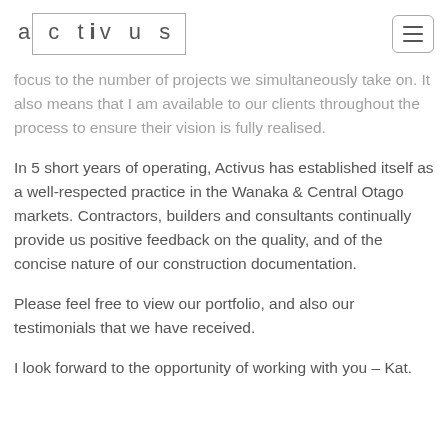activus [logo with menu button]
focus to the number of projects we simultaneously take on. It also means that I am available to our clients throughout the process to ensure their vision is fully realised.
In 5 short years of operating, Activus has established itself as a well-respected practice in the Wanaka & Central Otago markets. Contractors, builders and consultants continually provide us positive feedback on the quality, and of the concise nature of our construction documentation.
Please feel free to view our portfolio, and also our testimonials that we have received.
I look forward to the opportunity of working with you – Kat.